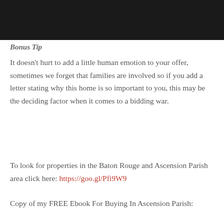[Figure (photo): Top portion of a dark/black photo, appears to be a device or electronic item against dark background. Cropped showing only the bottom portion of the image.]
Bonus Tip
It doesn't hurt to add a little human emotion to your offer, sometimes we forget that families are involved so if you add a letter stating why this home is so important to you, this may be the deciding factor when it comes to a bidding war.
To look for properties in the Baton Rouge and Ascension Parish area click here: https://goo.gl/Pfi9W9
Copy of my FREE Ebook For Buying In Ascension Parish: